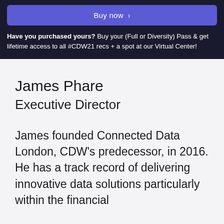[Figure (other): Buy now button — blue/purple rounded rectangle with white text 'Buy now >']
Have you purchased yours? Buy your (Full or Diversity) Pass & get lifetime access to all #CDW21 recs + a spot at our Virtual Center!
James Phare
Executive Director
James founded Connected Data London, CDW's predecessor, in 2016. He has a track record of delivering innovative data solutions particularly within the financial